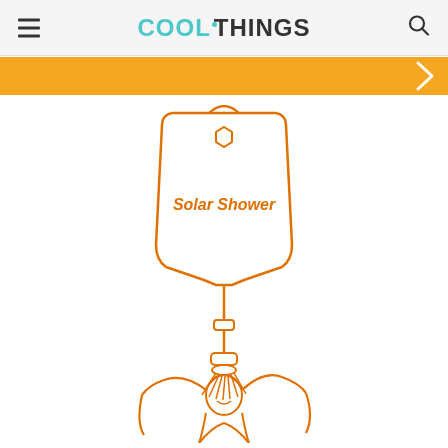COOLTHINGS
[Figure (illustration): Orange line illustration of a Solar Shower bag with text 'Solar Shower' on the bag, connected via a hose and nozzle to a person showering underneath, depicted in orange outline style on white background.]